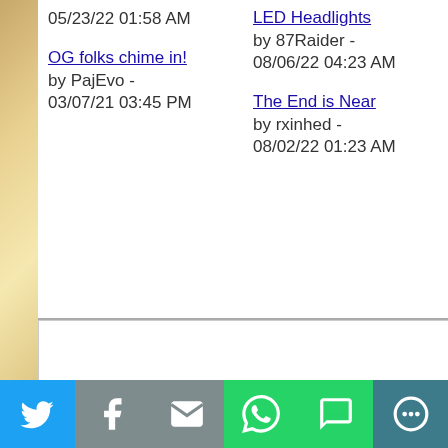05/23/22 01:58 AM
OG folks chime in!
by PajEvo - 03/07/21 03:45 PM
LED Headlights
by 87Raider - 08/06/22 04:23 AM
The End is Near
by rxinhed - 08/02/22 01:23 AM
[Figure (logo): United logo circle with partial text below]
Twitter | Facebook | Email | WhatsApp | SMS | More social share buttons